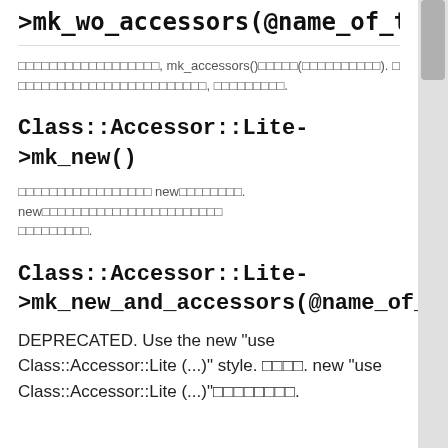>mk_wo_accessors(@name_of_the_p
□□□□□□□□□□□□□□□□□□, mk_accessors()□□□□□(□□□□□□□□□□). □ □□□□□□□□□□□□□□□□□□□□□□□□, □□□□□□□□□.
Class::Accessor::Lite->mk_new()
□□□□□□□□□□□□□□□□□ new□□□□□□□□. new□□□□□□□□□□□□□□□□□□□□□□□ □□□□□□□□□.
Class::Accessor::Lite->mk_new_and_accessors(@name_of_
DEPRECATED. Use the new "use Class::Accessor::Lite (...)" style. □□□□. new "use Class::Accessor::Lite (...)"□□□□□□□□.